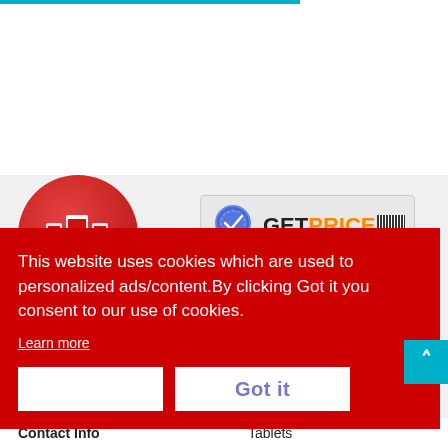[Figure (logo): SkuPhonez red circular logo with mobile phones icon and italic brand name]
[Figure (logo): GetPrice Certified badge with blue medal/ribbon and barcode]
This website uses cookies which are used to personalized ads/content.By clicking Got it you consent to our use of cookies.
Learn more
Got it
Contact Info
Tablets